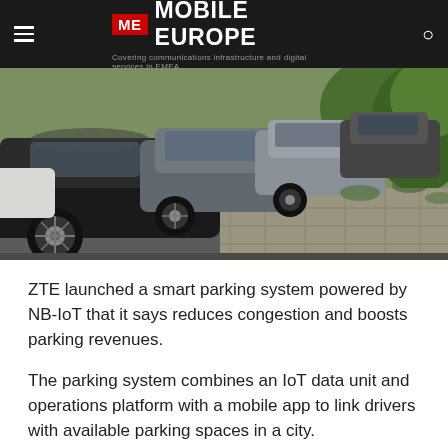ME MOBILE EUROPE — Covering communications infrastructure and digital services in EMEA
[Figure (photo): Row of cars parked along a city street sidewalk, viewed from low angle showing rooftops and a tree-lined path with stone pavement]
ZTE launched a smart parking system powered by NB-IoT that it says reduces congestion and boosts parking revenues.
The parking system combines an IoT data unit and operations platform with a mobile app to link drivers with available parking spaces in a city.